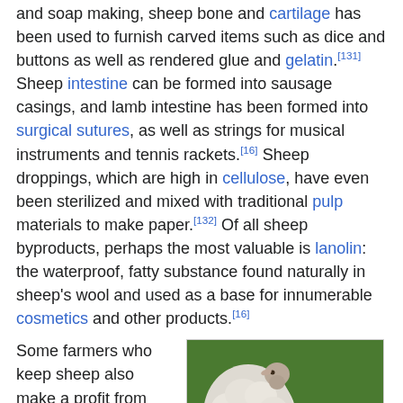and soap making, sheep bone and cartilage has been used to furnish carved items such as dice and buttons as well as rendered glue and gelatin.[131] Sheep intestine can be formed into sausage casings, and lamb intestine has been formed into surgical sutures, as well as strings for musical instruments and tennis rackets.[16] Sheep droppings, which are high in cellulose, have even been sterilized and mixed with traditional pulp materials to make paper.[132] Of all sheep byproducts, perhaps the most valuable is lanolin: the waterproof, fatty substance found naturally in sheep's wool and used as a base for innumerable cosmetics and other products.[16]
Some farmers who keep sheep also make a profit from live sheep. Providing lambs for youth programs such as 4-H and competition at
[Figure (photo): Two white woolly sheep on green grass, one facing camera with a person's hand extended toward it from the right.]